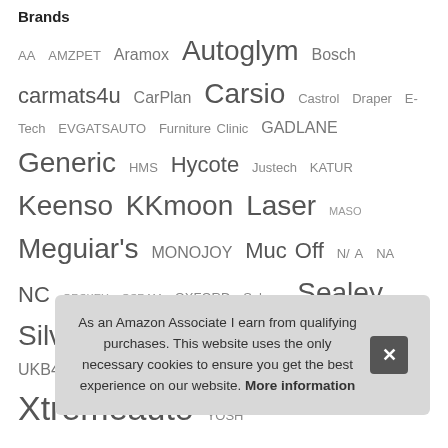Brands
AA AMZPET Aramox Autoglym Bosch carmats4u CarPlan Carsio Castrol Draper E-Tech EVGATSAUTO Furniture Clinic GADLANE Generic HMS Hycote Justech KATUR Keenso KKmoon Laser MASO Meguiar's MONOJOY Muc Off N/ A NA NC ORSKEY OSRAM OXFORD Sakura Sealey Silverline Simply Texpeed Turtle Wax UKB4C Unknown Vipa Car Parts WD-40 Wheels N Bits Xtremeauto YOSH
Rec...
As an Amazon Associate I earn from qualifying purchases. This website uses the only necessary cookies to ensure you get the best experience on our website. More information